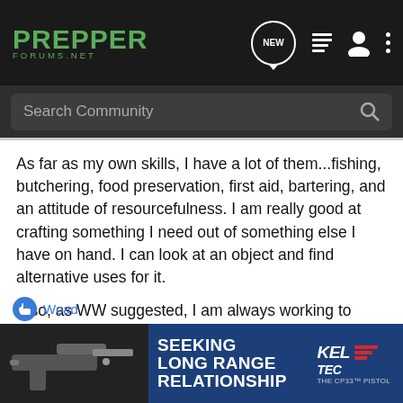[Figure (screenshot): Prepper Forums .net navigation bar with logo, NEW button, hamburger menu, user icon, and more icon on dark background]
[Figure (screenshot): Search Community search bar on dark grey background]
As far as my own skills, I have a lot of them...fishing, butchering, food preservation, first aid, bartering, and an attitude of resourcefulness. I am really good at crafting something I need out of something else I have on hand. I can look at an object and find alternative uses for it.
Also, as WW suggested, I am always working to learn new things or develop my skills further. I really want to learn small engine repair, how to build solar panels, develop my foraging and shooting skills, etc. These are all on my bucket list for 2013. Sit down and make your own skills list. That's the best place to start as a prepper.
[Figure (photo): Advertisement banner: Kel-Tec CP33 pistol - Seeking Long Range Relationship ad on blue background]